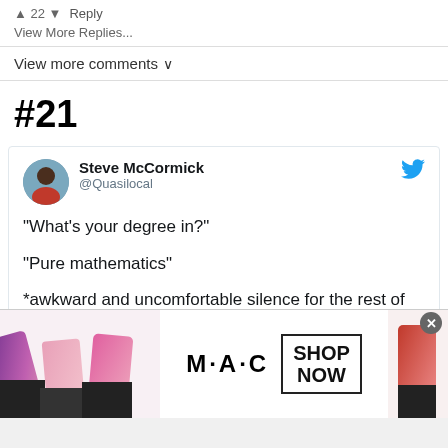22  Reply
View More Replies...
View more comments ∨
#21
Steve McCormick @Quasilocal
"What's your degree in?"

"Pure mathematics"

*awkward and uncomfortable silence for the rest of the...
[Figure (photo): MAC Cosmetics advertisement banner showing lipsticks with SHOP NOW button]